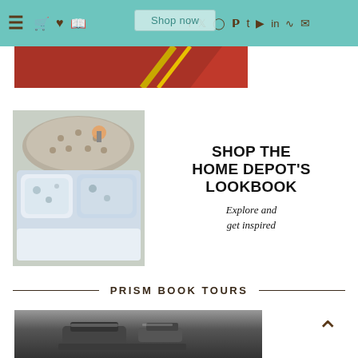Navigation bar with hamburger menu, cart, wishlist, book, Facebook, Twitter, Instagram, Pinterest, Tumblr, YouTube, LinkedIn, RSS, Email icons and Shop now button
[Figure (screenshot): Red and gold diagonal banner/ribbon graphic partially visible at the top]
[Figure (photo): Home Depot Lookbook advertisement showing a bed with tufted headboard and floral blue/white bedding, with text SHOP THE HOME DEPOT'S LOOKBOOK - Explore and get inspired]
PRISM BOOK TOURS
[Figure (photo): Black and white photo of what appears to be a typewriter or printing press on a textured surface, partially visible at the bottom of the page]